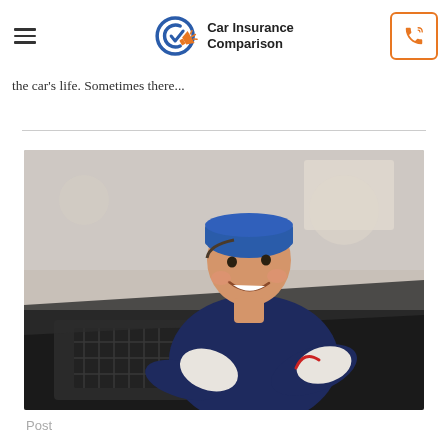Car Insurance Comparison
the car's life. Sometimes there...
[Figure (photo): A smiling male mechanic wearing a blue cap and dark shirt, leaning over an open car engine bay, wearing white work gloves, working on the engine components.]
Post